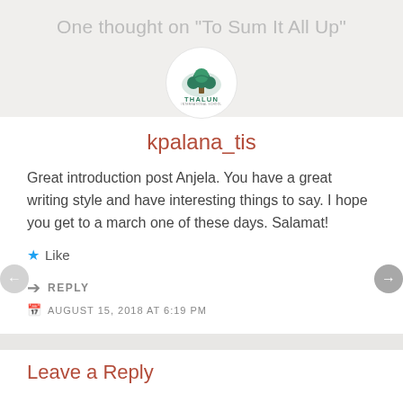One thought on "To Sum It All Up"
[Figure (logo): Thalun International School circular logo with tree emblem, green and white colors, text THALUN in bold green letters]
kpalana_tis
Great introduction post Anjela. You have a great writing style and have interesting things to say. I hope you get to a march one of these days. Salamat!
Like
REPLY
AUGUST 15, 2018 AT 6:19 PM
Leave a Reply